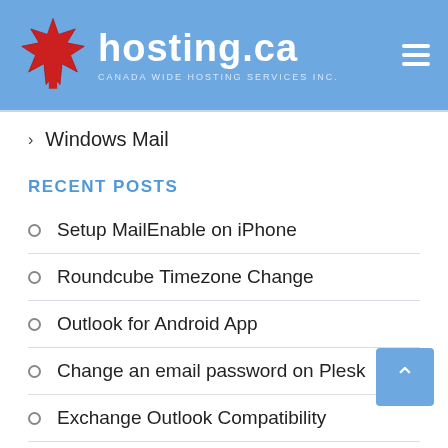[Figure (logo): hosting.ca logo with Canadian maple leaf, text 'hosting.ca' and subtitle 'CANADA WIDE HOSTING SERVICES INC.']
Windows Mail
RECENT POSTS
Setup MailEnable on iPhone
Roundcube Timezone Change
Outlook for Android App
Change an email password on Plesk
Exchange Outlook Compatibility